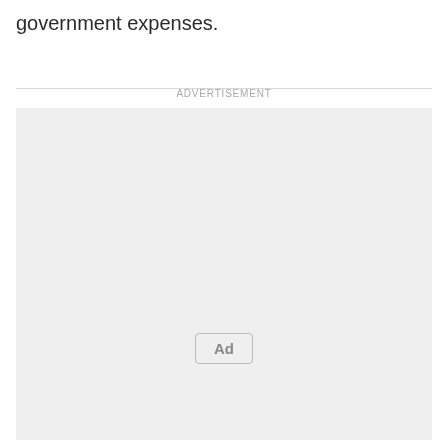government expenses.
[Figure (other): Advertisement placeholder box with 'Ad' button label and 'ADVERTISEMENT' header text]